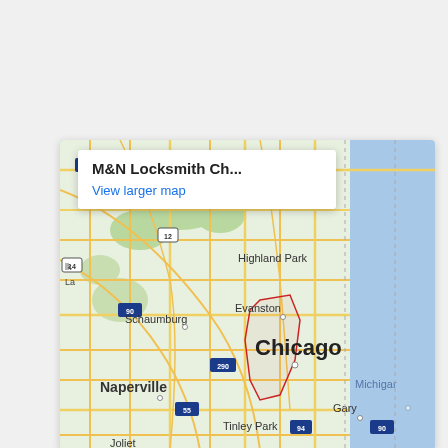[Figure (map): Google Maps embed showing the Chicago metropolitan area including Highland Park, Evanston, Schaumburg, Chicago, Naperville, Gary, Tinley Park, Joliet, and Lake Michigan. Road network shown with yellow and orange lines on green/white background. Interstate shields visible for routes 43, 94, 12, 14, 90, 290, 55. A popup shows 'M&N Locksmith Ch...' with 'View larger map' link.]